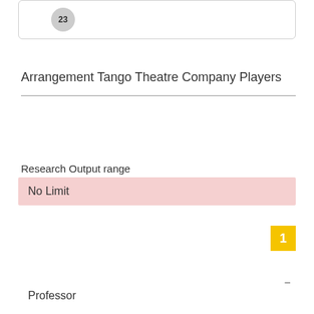[Figure (other): Rounded rectangle card with a grey circular badge showing number 23]
Arrangement Tango Theatre Company Players
Research Output range
No Limit
1
–
Professor